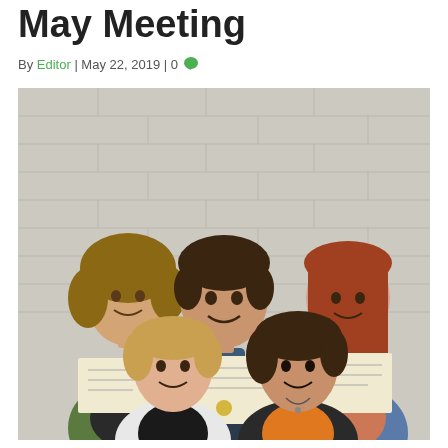May Meeting
By Editor | May 22, 2019 | 0
[Figure (photo): Five young people standing against a white brick wall, holding certificates. Three in the back row and two in the front row, smiling.]